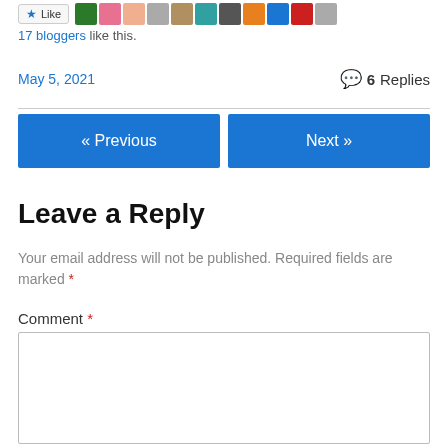[Figure (other): Like button with star icon and row of blogger avatar thumbnails]
17 bloggers like this.
May 5, 2021
6 Replies
« Previous
Next »
Leave a Reply
Your email address will not be published. Required fields are marked *
Comment *